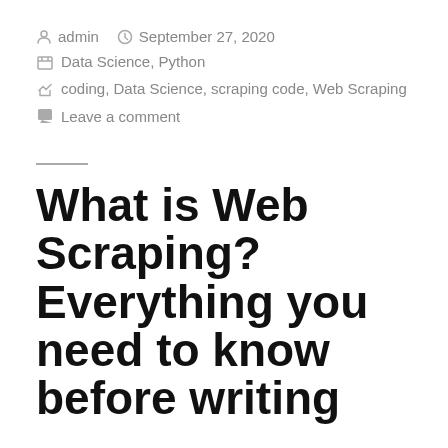admin   September 27, 2020
Data Science, Python
coding, Data Science, scraping code, Web Scraping
Leave a comment
What is Web Scraping? Everything you need to know before writing your first scraping